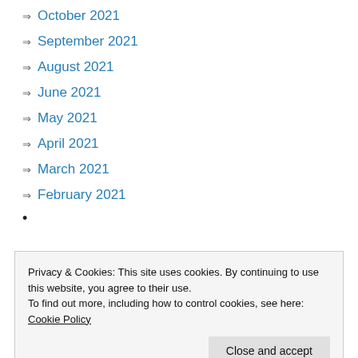⇒ October 2021
⇒ September 2021
⇒ August 2021
⇒ June 2021
⇒ May 2021
⇒ April 2021
⇒ March 2021
⇒ February 2021
Privacy & Cookies: This site uses cookies. By continuing to use this website, you agree to their use. To find out more, including how to control cookies, see here: Cookie Policy
⇒ September 2020